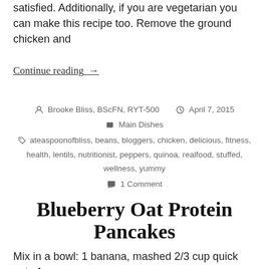satisfied. Additionally, if you are vegetarian you can make this recipe too. Remove the ground chicken and
Continue reading  →
Brooke Bliss, BScFN, RYT-500   April 7, 2015
Main Dishes
ateaspoonofbliss, beans, bloggers, chicken, delicious, fitness, health, lentils, nutritionist, peppers, quinoa, realfood, stuffed, wellness, yummy
1 Comment
Blueberry Oat Protein Pancakes
Mix in a bowl: 1 banana, mashed 2/3 cup quick oats 1